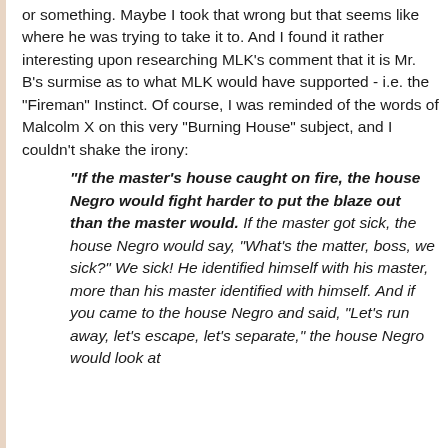or something. Maybe I took that wrong but that seems like where he was trying to take it to. And I found it rather interesting upon researching MLK's comment that it is Mr. B's surmise as to what MLK would have supported - i.e. the "Fireman" Instinct. Of course, I was reminded of the words of Malcolm X on this very "Burning House" subject, and I couldn't shake the irony:
"If the master's house caught on fire, the house Negro would fight harder to put the blaze out than the master would. If the master got sick, the house Negro would say, "What's the matter, boss, we sick?" We sick! He identified himself with his master, more than his master identified with himself. And if you came to the house Negro and said, "Let's run away, let's escape, let's separate," the house Negro would look at